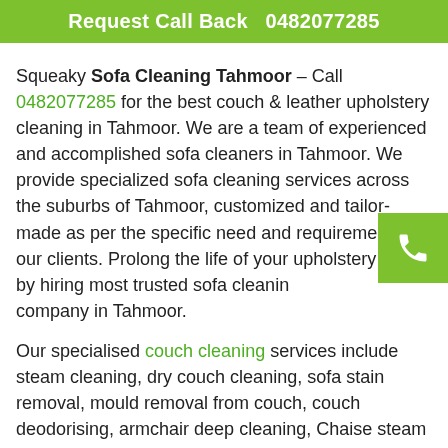Request Call Back   0482077285
Squeaky Sofa Cleaning Tahmoor – Call 0482077285 for the best couch & leather upholstery cleaning in Tahmoor. We are a team of experienced and accomplished sofa cleaners in Tahmoor. We provide specialized sofa cleaning services across the suburbs of Tahmoor, customized and tailor-made as per the specific need and requirements of our clients. Prolong the life of your upholstery today by hiring most trusted sofa cleaning company in Tahmoor.
Our specialised couch cleaning services include steam cleaning, dry couch cleaning, sofa stain removal, mould removal from couch, couch deodorising, armchair deep cleaning, Chaise steam cleaning and more.
Our Upholstery Cleaning Prices in Tahmoor
| Upholstery | Fabric Sofa | Leather |
| --- | --- | --- |